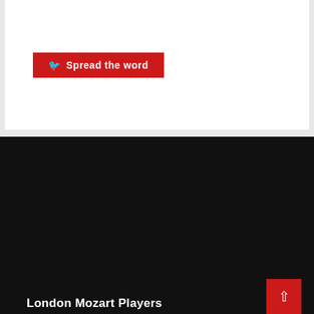Spread the word
London Mozart Players
Fairfield Halls
Park Lane
Croydon
CR9 1DG
Registered No: 8882717
Registered Charity No. 290833
020 8686 1996
info@lmp.org